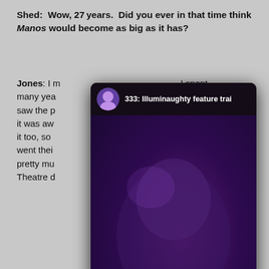Shed: Wow, 27 years. Did you ever in that time think Manos would become as big as it has?
Jones: I m... I spent many yea... e we saw the p... because it was aw... n knew it too, so ... y kind of went thei... h, it was pretty mu... Science Theatre d...
[Figure (screenshot): YouTube video overlay showing '333: Illuminaughty feature trai' with a dark video frame of a person's face, a red YouTube play button in the lower right, a Watch on YouTube bar at the bottom, and a CLOSE button below.]
Shed: Th... e, another ... r at the films scr... bed over by a...
Jones: O... ow, I sat there jus... h and this horrible voice came out... ified, absolutely mortified, so yeah, I spent the whole time crying.
Shed: It's hard imagine, watching your whole performance